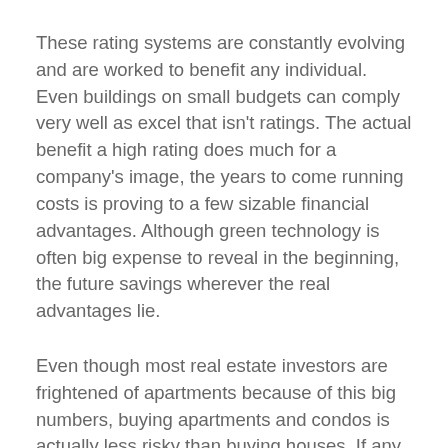These rating systems are constantly evolving and are worked to benefit any individual. Even buildings on small budgets can comply very well as excel that isn't ratings. The actual benefit a high rating does much for a company's image, the years to come running costs is proving to a few sizable financial advantages. Although green technology is often big expense to reveal in the beginning, the future savings wherever the real advantages lie.
Even though most real estate investors are frightened of apartments because of this big numbers, buying apartments and condos is actually less risky than buying houses. If any single tenant stops paying rent you still have cashflow getting released from all of the other paying tenants on the inside property spend your university fees. When a tenant in specific family home stops paying, that's